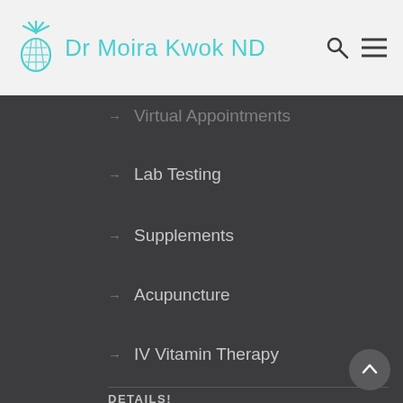Dr Moira Kwok ND
Virtual Appointments
Lab Testing
Supplements
Acupuncture
IV Vitamin Therapy
DETAILS!
About Dr. Kwok